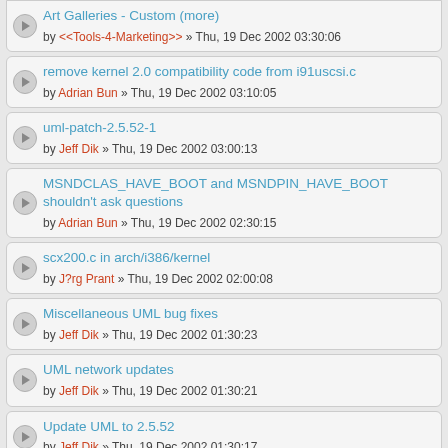Art Galleries - Custom (more) by <<Tools-4-Marketing>> » Thu, 19 Dec 2002 03:30:06
remove kernel 2.0 compatibility code from i91uscsi.c by Adrian Bun » Thu, 19 Dec 2002 03:10:05
uml-patch-2.5.52-1 by Jeff Dik » Thu, 19 Dec 2002 03:00:13
MSNDCLAS_HAVE_BOOT and MSNDPIN_HAVE_BOOT shouldn't ask questions by Adrian Bun » Thu, 19 Dec 2002 02:30:15
scx200.c in arch/i386/kernel by J?rg Prant » Thu, 19 Dec 2002 02:00:08
Miscellaneous UML bug fixes by Jeff Dik » Thu, 19 Dec 2002 01:30:23
UML network updates by Jeff Dik » Thu, 19 Dec 2002 01:30:21
Update UML to 2.5.52 by Jeff Dik » Thu, 19 Dec 2002 01:30:17
UML device configuration reporting by Jeff Dik » Thu, 19 Dec 2002 01:30:16
Allow UML kernel to run in a separate host address